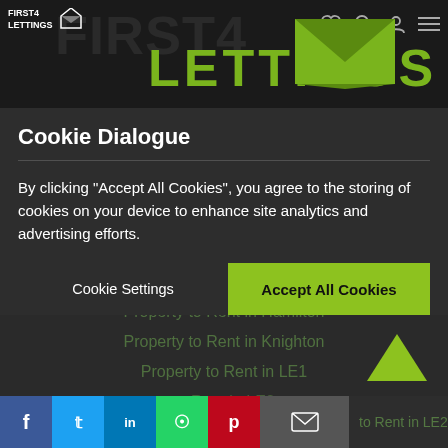First4Lettings - LETTINGS
Cookie Dialogue
By clicking "Accept All Cookies", you agree to the storing of cookies on your device to enhance site analytics and advertising efforts.
Cookie Settings
Accept All Cookies
Property to Rent in Leicester
Property to Rent in Stoneygate
Property to Rent in Wigston
Property to Rent in Hamilton
Property to Rent in Knighton
Property to Rent in LE1
to Rent in LE2
to Rent in LE3
f  t  in  (whatsapp)  p  (email)